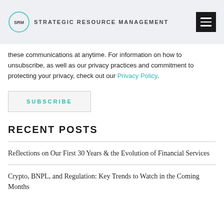SRM STRATEGIC RESOURCE MANAGEMENT
these communications at anytime. For information on how to unsubscribe, as well as our privacy practices and commitment to protecting your privacy, check out our Privacy Policy.
SUBSCRIBE
RECENT POSTS
Reflections on Our First 30 Years & the Evolution of Financial Services
Crypto, BNPL, and Regulation: Key Trends to Watch in the Coming Months